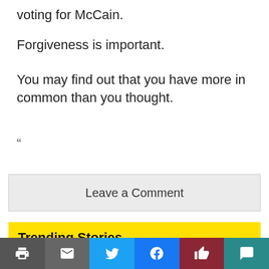voting for McCain.
Forgiveness is important.
You may find out that you have more in common than you thought.
“
Leave a Comment
Trending Stories
"Halloween Kills" Review: Gory Kills are the Only Redeemable Quality • 317 Views
[Figure (other): Share toolbar with print, email, Twitter, Facebook, recommend, and comment buttons]